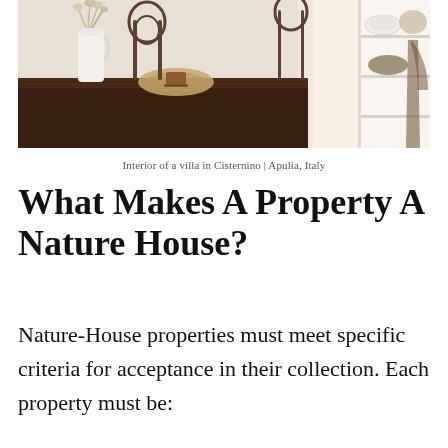[Figure (photo): Interior of a villa in Cisternino, Apulia, Italy — showing a dark wooden dining table with a white ceramic jug holding dried flowers, a woven placemat with a tea cup, ornate wrought iron chairs, and white shelving with dishes and bowls in the background.]
Interior of a villa in Cisternino | Apulia, Italy
What Makes A Property A Nature House?
Nature-House properties must meet specific criteria for acceptance in their collection. Each property must be: